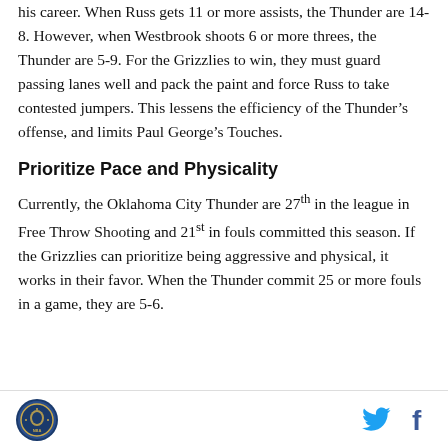his career. When Russ gets 11 or more assists, the Thunder are 14-8. However, when Westbrook shoots 6 or more threes, the Thunder are 5-9. For the Grizzlies to win, they must guard passing lanes well and pack the paint and force Russ to take contested jumpers. This lessens the efficiency of the Thunder's offense, and limits Paul George's Touches.
Prioritize Pace and Physicality
Currently, the Oklahoma City Thunder are 27th in the league in Free Throw Shooting and 21st in fouls committed this season. If the Grizzlies can prioritize being aggressive and physical, it works in their favor. When the Thunder commit 25 or more fouls in a game, they are 5-6.
[logo] [twitter] [facebook]